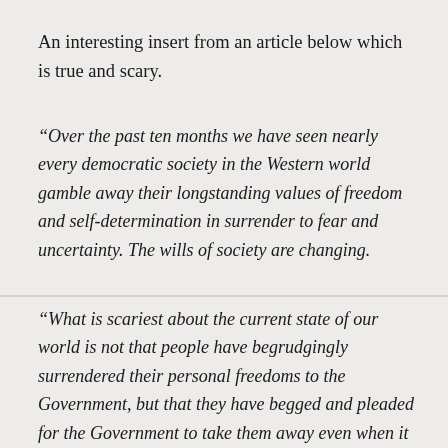An interesting insert from an article below which is true and scary.
“Over the past ten months we have seen nearly every democratic society in the Western world gamble away their longstanding values of freedom and self-determination in surrender to fear and uncertainty. The wills of society are changing.
“What is scariest about the current state of our world is not that people have begrudgingly surrendered their personal freedoms to the Government, but that they have begged and pleaded for the Government to take them away even when it did not want to do so.